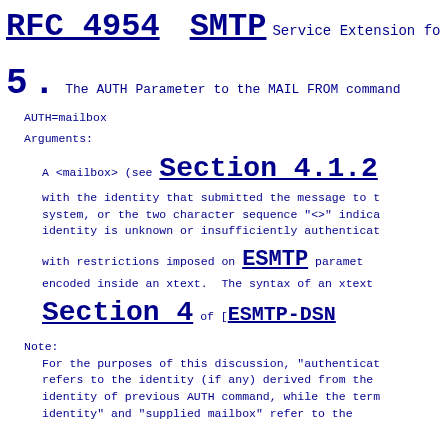RFC 4954    SMTP Service Extension fo
5.  The AUTH Parameter to the MAIL FROM command
AUTH=mailbox
Arguments:
A <mailbox> (see Section 4.1.2 with the identity that submitted the message to the system, or the two character sequence "<>" indicating that the identity is unknown or insufficiently authenticated.
with restrictions imposed on ESMTP parameters, which must be encoded inside an xtext.  The syntax of an xtext Section 4 of [ESMTP-DSN
Note:
For the purposes of this discussion, "authenticated identity" refers to the identity (if any) derived from the identity of previous AUTH command, while the term identity" and "supplied mailbox" refer to the